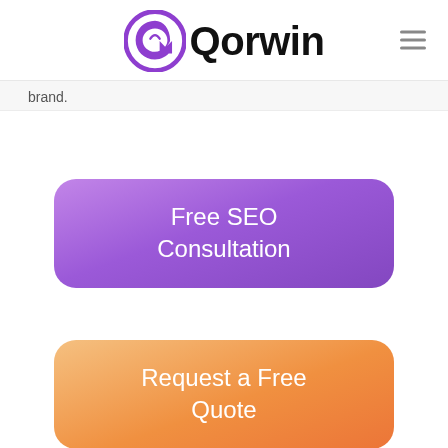[Figure (logo): Qorwin logo with purple stylized Q icon and black text reading Qorwin, with hamburger menu icon on the right]
brand.
[Figure (other): Purple rounded rectangle button with white text reading Free SEO Consultation]
[Figure (other): Orange gradient rounded rectangle button with white text reading Request a Free Quote]